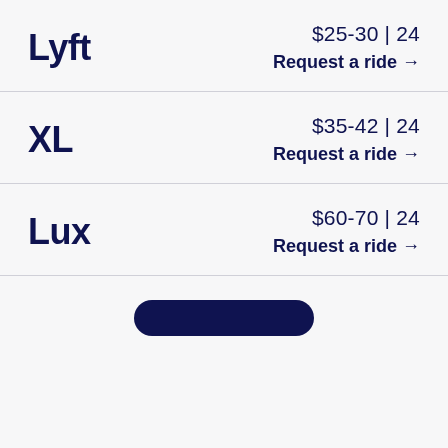Lyft  $25-30 | 24  Request a ride →
XL  $35-42 | 24  Request a ride →
Lux  $60-70 | 24  Request a ride →